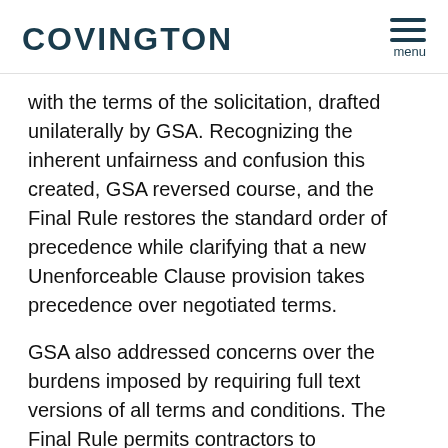COVINGTON
with the terms of the solicitation, drafted unilaterally by GSA. Recognizing the inherent unfairness and confusion this created, GSA reversed course, and the Final Rule restores the standard order of precedence while clarifying that a new Unenforceable Clause provision takes precedence over negotiated terms.
GSA also addressed concerns over the burdens imposed by requiring full text versions of all terms and conditions. The Final Rule permits contractors to incorporate its terms and conditions by reference. This means that the burden is on GSA contracting